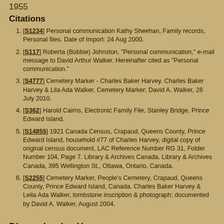1955
Citations
[S1234] Personal communication Kathy Sheehan, Family records, Personal files. Date of Import: 24 Aug 2000.
[S117] Roberta (Bobbie) Johnston, "Personal communication," e-mail message to David Arthur Walker. Hereinafter cited as "Personal communication."
[S4777] Cemetery Marker - Charles Baker Harvey. Charles Baker Harvey & Lila Ada Walker, Cemetery Marker; David A. Walker, 26 July 2010.
[S362] Harold Cairns, Electronic Family File, Stanley Bridge, Prince Edward Island.
[S14855] 1921 Canada Census, Crapaud, Queens County, Prince Edward Island, household #77 of Charles Harvey, digital copy of original census document, LAC Reference Number RG 31, Folder Number 104, Page 7. Library & Archives Canada, Library & Archives Canada, 395 Wellington St., Ottawa, Ontario, Canada.
[S2255] Cemetery Marker, People's Cemetery, Crapaud, Queens County, Prince Edward Island, Canada. Charles Baker Harvey & Leila Ada Walker, tombstone inscription & photograph; documented by David A. Walker, August 2004.
Dianne Louise Harvey
F, #30322, b. 29 September 1941, d. 5 November 2020